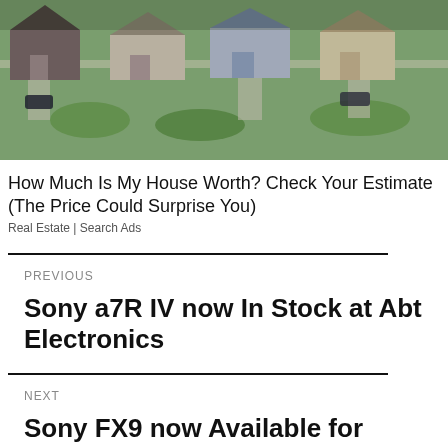[Figure (photo): Aerial view of suburban houses with driveways, rooftops, and green lawns]
How Much Is My House Worth? Check Your Estimate (The Price Could Surprise You)
Real Estate | Search Ads
PREVIOUS
Sony a7R IV now In Stock at Abt Electronics
NEXT
Sony FX9 now Available for